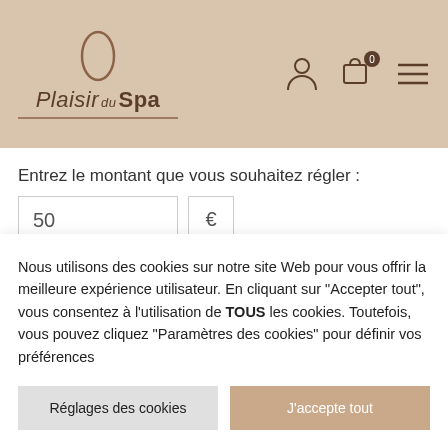[Figure (logo): Plaisir du Spa logo with oval shape above text]
Entrez le montant que vous souhaitez régler :
50 €
IN DEN WARENKORB
[Figure (other): Dark brown footer band with partial oval logo]
Nous utilisons des cookies sur notre site Web pour vous offrir la meilleure expérience utilisateur. En cliquant sur "Accepter tout", vous consentez à l'utilisation de TOUS les cookies. Toutefois, vous pouvez cliquez "Paramètres des cookies" pour définir vos préférences
Réglages des cookies
J'accepte tout